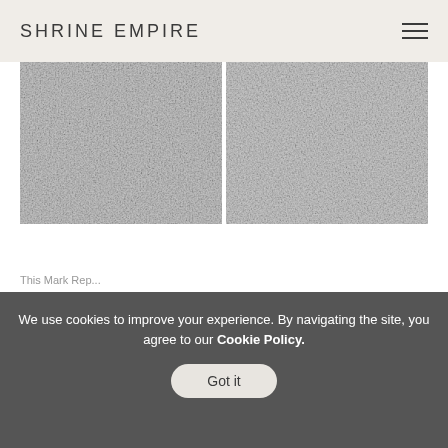SHRINE EMPIRE
[Figure (photo): Two side-by-side grayscale texture images resembling stone or concrete surfaces, placed next to each other with a thin gap between them.]
This Mark Rep...
We use cookies to improve your experience. By navigating the site, you agree to our Cookie Policy.